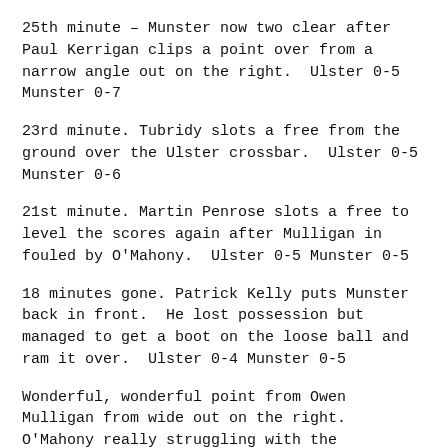25th minute – Munster now two clear after Paul Kerrigan clips a point over from a narrow angle out on the right.  Ulster 0-5 Munster 0-7
23rd minute. Tubridy slots a free from the ground over the Ulster crossbar.  Ulster 0-5 Munster 0-6
21st minute. Martin Penrose slots a free to level the scores again after Mulligan in fouled by O'Mahony.  Ulster 0-5 Munster 0-5
18 minutes gone. Patrick Kelly puts Munster back in front.  He lost possession but managed to get a boot on the loose ball and ram it over.  Ulster 0-4 Munster 0-5
Wonderful, wonderful point from Owen Mulligan from wide out on the right.  O'Mahony really struggling with the Cookstown man this afternoon so far.  Ulster level.  Ulster 0-4 Munster 0-4
Munster full forward Gary Murney from Waterford gives